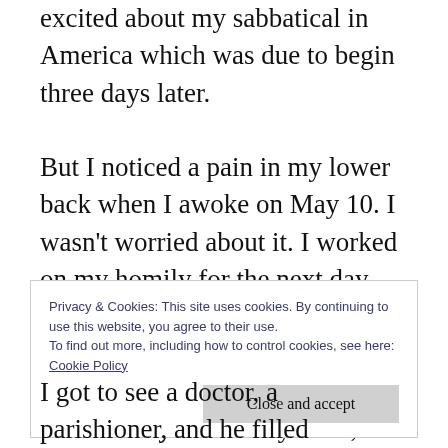excited about my sabbatical in America which was due to begin three days later. But I noticed a pain in my lower back when I awoke on May 10. I wasn't worried about it. I worked on my homily for the next day, which would be the last time for eight months at least, that I would be preaching in Rathgar. Then I went for my customary walk, which I was sure would iron out the pain that continued to nag at me, but by the time I got home the pain had intensified.
Privacy & Cookies: This site uses cookies. By continuing to use this website, you agree to their use.
To find out more, including how to control cookies, see here:
Cookie Policy
I got to see a doctor, a parishioner, and he filled